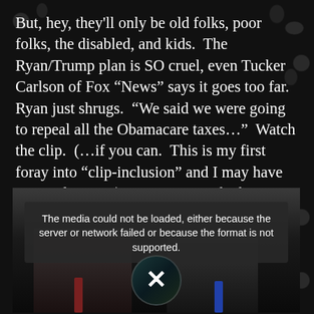But, hey, they'll only be old folks, poor folks, the disabled, and kids.  The Ryan/Trump plan is SO cruel, even Tucker Carlson of Fox “News” says it goes too far.  Ryan just shrugs.  “We said we were going to repeal all the Obamacare taxes…”  Watch the clip.  (…if you can.  This is my first foray into “clip-inclusion” and I may have screwed it up…) Ryan seems to be having fun with the entire subject.  NOTHING is as important to him as giving rich people the break they so sorely need.
[Figure (screenshot): A video player showing two men in suits in a studio setting. An error overlay reads: 'The media could not be loaded, either because the server or network failed or because the format is not supported.' A circular X button is shown in the center of the player.]